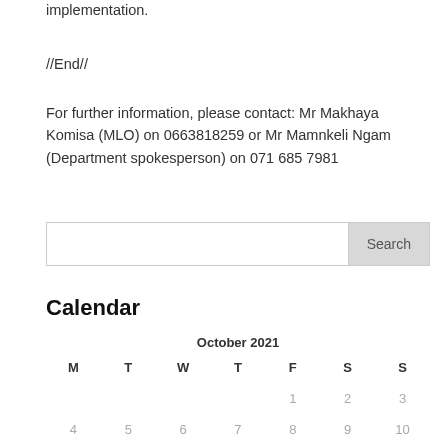implementation.
//End//
For further information, please contact: Mr Makhaya Komisa (MLO) on 0663818259 or Mr Mamnkeli Ngam (Department spokesperson) on 071 685 7981
Search
Calendar
| M | T | W | T | F | S | S |
| --- | --- | --- | --- | --- | --- | --- |
|  |  |  |  | 1 | 2 | 3 |
| 4 | 5 | 6 | 7 | 8 | 9 | 10 |